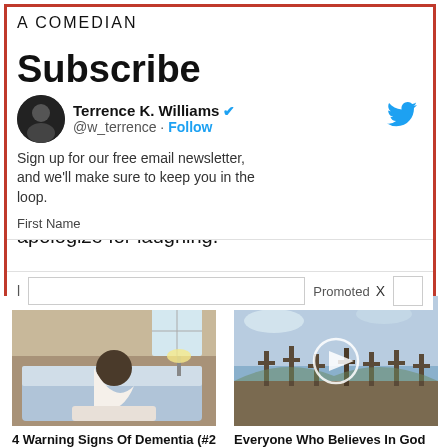A COMEDIAN
Subscribe
Terrence K. Williams @w_terrence · Follow
Sign up for our free email newsletter, and we'll make sure to keep you in the loop.
First Name
The Transgender community is threatening to end my career if I don't delete this video or apologize for laughing.
I have nothing against transgenders, I l
Promoted X
[Figure (photo): Person hunched over on bed in white robe]
4 Warning Signs Of Dementia (#2 Is Scary)
🔥 45,493
[Figure (photo): Outdoor scene with crosses and sky, video thumbnail with play button]
Everyone Who Believes In God Should Watch This. It Will Blow Your Mind
🔥 2,847,046